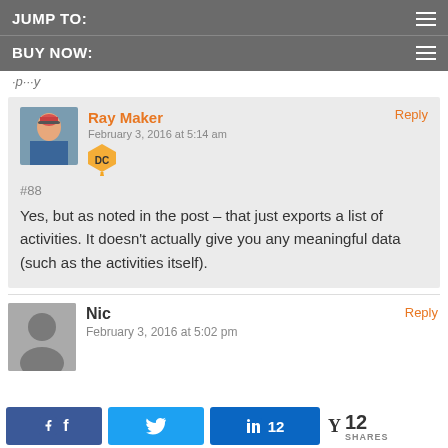JUMP TO:
BUY NOW:
Reply
Ray Maker
February 3, 2016 at 5:14 am
#88
Yes, but as noted in the post – that just exports a list of activities. It doesn't actually give you any meaningful data (such as the activities itself).
Nic
February 3, 2016 at 5:02 pm
Reply